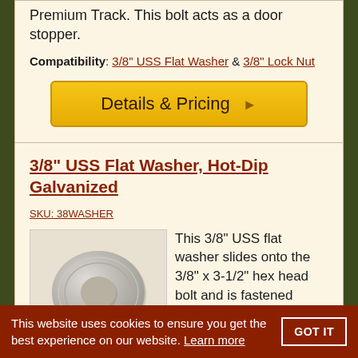Premium Track. This bolt acts as a door stopper.
Compatibility: 3/8" USS Flat Washer & 3/8" Lock Nut
Details & Pricing
3/8" USS Flat Washer, Hot-Dip Galvanized
SKU: 38WASHER
[Figure (photo): A 3/8 inch USS flat washer, hot-dip galvanized, shown from above. The washer is round and metallic silver-grey with a hole in the center.]
This 3/8" USS flat washer slides onto the 3/8" x 3-1/2" hex head bolt and is fastened
This website uses cookies to ensure you get the best experience on our website. Learn more GOT IT